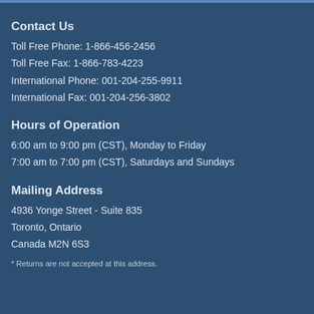Contact Us
Toll Free Phone: 1-866-456-2456
Toll Free Fax: 1-866-783-4223
International Phone: 001-204-255-9911
International Fax: 001-204-256-3802
Hours of Operation
6:00 am to 9:00 pm (CST), Monday to Friday
7:00 am to 7:00 pm (CST), Saturdays and Sundays
Mailing Address
4936 Yonge Street - Suite 835
Toronto, Ontario
Canada M2N 6S3
* Returns are not accepted at this address.